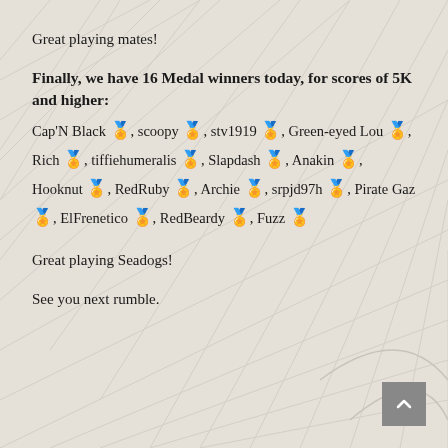Great playing mates!
Finally, we have 16 Medal winners today, for scores of 5K and higher:
Cap'N Black 🥇, scoopy 🥇, stv1919 🥇, Green-eyed Lou 🥇, Rich 🥇, tiffiehumeralis 🥇, Slapdash 🥇, Anakin 🥇, Hooknut 🥇, RedRuby 🥇, Archie 🥇, srpjd97h 🥇, Pirate Gaz 🥇, ElFrenetico 🥇, RedBeardy 🥇, Fuzz 🥇
Great playing Seadogs!
See you next rumble.